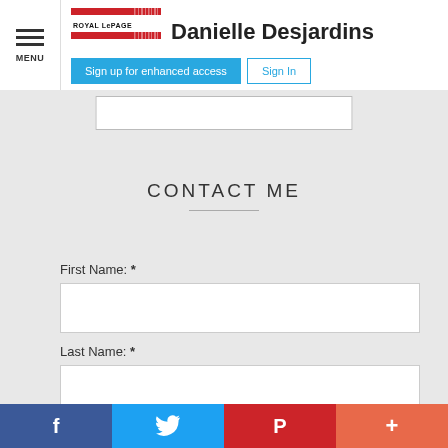MENU | Royal LePage | Danielle Desjardins | Sign up for enhanced access | Sign In
CONTACT ME
First Name: *
Last Name: *
f | Twitter bird | P | +